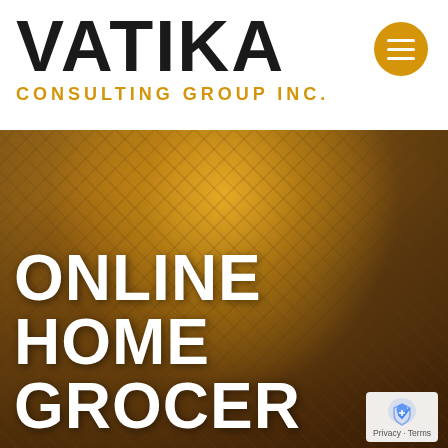VATIKA
CONSULTING GROUP INC.
[Figure (photo): Close-up photo of a wicker/metal basket containing yellow squash and other vegetables, used as hero image for an online grocery website]
ONLINE HOME GROCER
[Figure (logo): Small Google reCAPTCHA/privacy logo badge in the bottom right, with text 'Privacy - Terms']